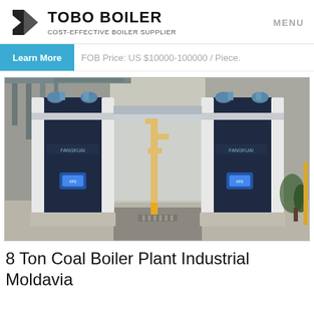TOBO BOILER — COST-EFFECTIVE BOILER SUPPLIER | MENU
Learn More   FOB Price: US $10000-100000 / Piece.
[Figure (photo): Two large industrial coal boilers side by side inside a factory building, dark navy blue and white casing, yellow gas pipe visible between units, pipes along ceiling, concrete floor, plants in background.]
8 Ton Coal Boiler Plant Industrial Moldavia